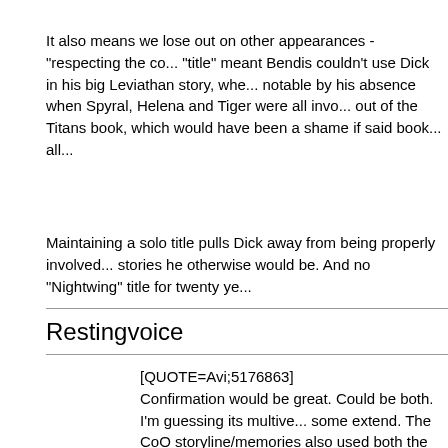It also means we lose out on other appearances - "respecting the co... title" meant Bendis couldn't use Dick in his big Leviathan story, whe... notable by his absence when Spyral, Helena and Tiger were all invo... out of the Titans book, which would have been a shame if said book... all...
Maintaining a solo title pulls Dick away from being properly involved... stories he otherwise would be. And no "Nightwing" title for twenty ye...
Restingvoice
[QUOTE=Avi;5176863]
Confirmation would be great. Could be both. I'm guessing its multive... some extend. The CoO storyline/memories also used both the N52 ... suit. And it is time for it to go. Barely any artist can make it look goo...
[/QUOTE]
is the one with The Court part of his real memory or the imp... wait t... was him always been with The Court right? Remind me? If it's not th... I'm gonna count it as canon.
Also, in JL the uniform is not what made Dick think that something w...
We know from King's story that he was adopted as a child, we just o...